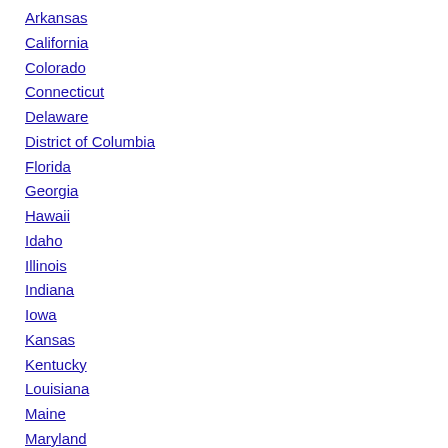Arkansas
California
Colorado
Connecticut
Delaware
District of Columbia
Florida
Georgia
Hawaii
Idaho
Illinois
Indiana
Iowa
Kansas
Kentucky
Louisiana
Maine
Maryland
Massachusetts